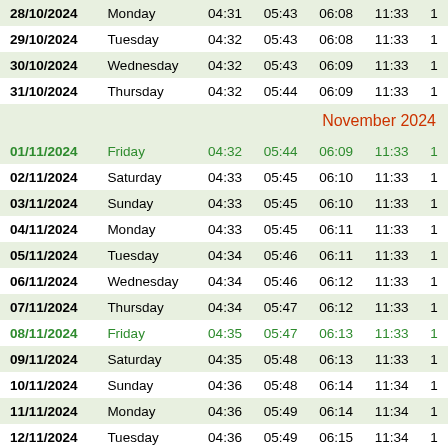| Date | Day | Col3 | Col4 | Col5 | Col6 | Col7 |
| --- | --- | --- | --- | --- | --- | --- |
| 28/10/2024 | Monday | 04:31 | 05:43 | 06:08 | 11:33 | 1 |
| 29/10/2024 | Tuesday | 04:32 | 05:43 | 06:08 | 11:33 | 1 |
| 30/10/2024 | Wednesday | 04:32 | 05:43 | 06:09 | 11:33 | 1 |
| 31/10/2024 | Thursday | 04:32 | 05:44 | 06:09 | 11:33 | 1 |
| [November 2024] |  |  |  |  |  |  |
| 01/11/2024 | Friday | 04:32 | 05:44 | 06:09 | 11:33 | 1 |
| 02/11/2024 | Saturday | 04:33 | 05:45 | 06:10 | 11:33 | 1 |
| 03/11/2024 | Sunday | 04:33 | 05:45 | 06:10 | 11:33 | 1 |
| 04/11/2024 | Monday | 04:33 | 05:45 | 06:11 | 11:33 | 1 |
| 05/11/2024 | Tuesday | 04:34 | 05:46 | 06:11 | 11:33 | 1 |
| 06/11/2024 | Wednesday | 04:34 | 05:46 | 06:12 | 11:33 | 1 |
| 07/11/2024 | Thursday | 04:34 | 05:47 | 06:12 | 11:33 | 1 |
| 08/11/2024 | Friday | 04:35 | 05:47 | 06:13 | 11:33 | 1 |
| 09/11/2024 | Saturday | 04:35 | 05:48 | 06:13 | 11:33 | 1 |
| 10/11/2024 | Sunday | 04:36 | 05:48 | 06:14 | 11:34 | 1 |
| 11/11/2024 | Monday | 04:36 | 05:49 | 06:14 | 11:34 | 1 |
| 12/11/2024 | Tuesday | 04:36 | 05:49 | 06:15 | 11:34 | 1 |